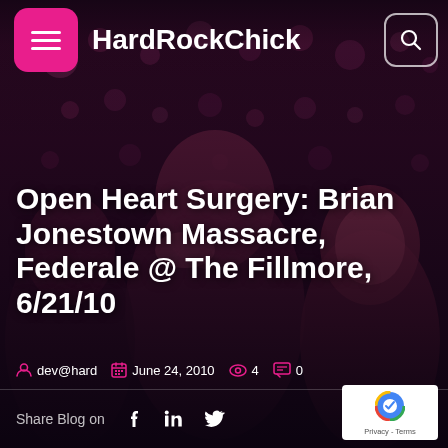[Figure (photo): Concert/venue photo with crowd in dark reddish-purple lighting, people visible in foreground against bokeh background lights]
HardRockChick
Open Heart Surgery: Brian Jonestown Massacre, Federale @ The Fillmore, 6/21/10
dev@hard  June 24, 2010  4  0
Share Blog on